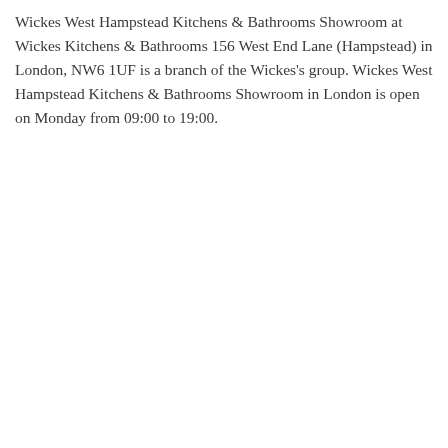Wickes West Hampstead Kitchens & Bathrooms Showroom at Wickes Kitchens & Bathrooms 156 West End Lane (Hampstead) in London, NW6 1UF is a branch of the Wickes's group. Wickes West Hampstead Kitchens & Bathrooms Showroom in London is open on Monday from 09:00 to 19:00.